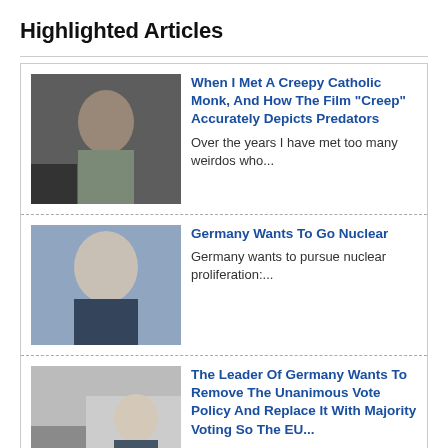Highlighted Articles
[Figure (photo): Portrait photo of a young man]
When I Met A Creepy Catholic Monk, And How The Film "Creep" Accurately Depicts Predators
Over the years I have met too many weirdos who...
[Figure (photo): Portrait photo of a bald middle-aged man]
Germany Wants To Go Nuclear
Germany wants to pursue nuclear proliferation:...
[Figure (photo): Photo of a man in a suit at a podium]
The Leader Of Germany Wants To Remove The Unanimous Vote Policy And Replace It With Majority Voting So The EU...
The Chancellor of Germany, Olaf Scholz, just recently stated that...
[Figure (photo): Dark photo, possibly industrial or nuclear facility]
Germany And Japan Are Turning To Nuclear Power